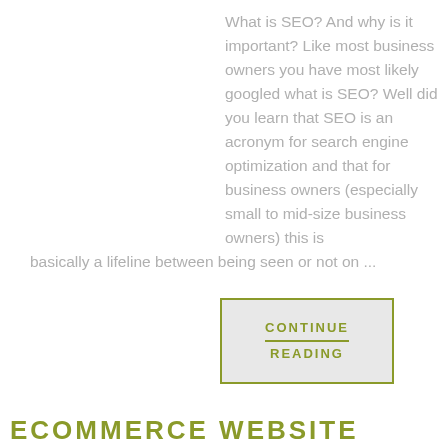What is SEO? And why is it important? Like most business owners you have most likely googled what is SEO? Well did you learn that SEO is an acronym for search engine optimization and that for business owners (especially small to mid-size business owners) this is basically a lifeline between being seen or not on ...
CONTINUE READING
ECOMMERCE WEBSITE